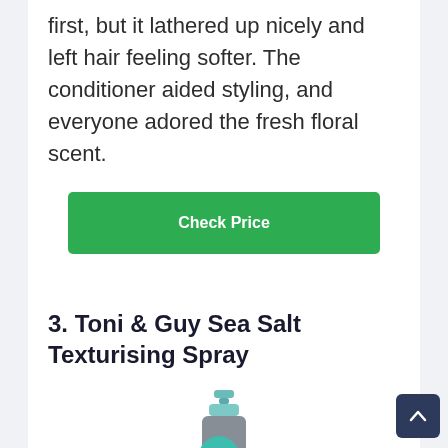first, but it lathered up nicely and left hair feeling softer. The conditioner aided styling, and everyone adored the fresh floral scent.
Check Price
3. Toni & Guy Sea Salt Texturising Spray
[Figure (photo): Toni & Guy Sea Salt Texturising Spray bottle - grey spray bottle with teal/mint colored branding and logo, showing the nozzle at the top]